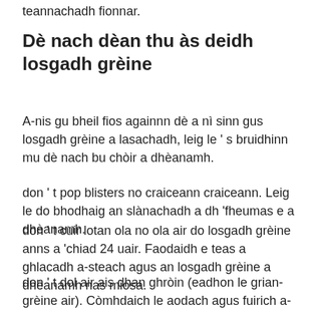teannachadh fionnar.
Dè nach dèan thu às deidh losgadh grèine
A-nis gu bheil fios againn dè a nì sinn gus losgadh grèine a lasachadh, leig le ' s bruidhinn mu dè nach bu chòir a dhèanamh.
don ' t pop blisters no craiceann craiceann. Leig le do bhodhaig an slànachadh a dh 'fheumas e a dhèanamh.
don ' t cuir lotan ola no ola air do losgadh grèine anns a 'chiad 24 uair. Faodaidh e teas a ghlacadh a-steach agus an losgadh grèine a dhèanamh nas miosa.
don ' t dol air ais dhan ghròin (eadhon le grian-grèine air). Còmhdaich le aodach agus fuirich a-mach às a 'ghròin gus am bi an craiceann a' slànachadh.
don ' t còmhdaich do losgadh grèine le makeup gus an tèid e ' s a shlànachadh.
Seachain aodach a tha teann air uidheamachadh.